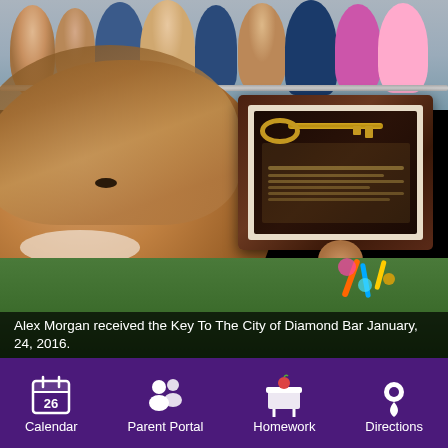[Figure (photo): Alex Morgan taking a selfie at a public event, holding up a framed Key To The City of Diamond Bar plaque, with a crowd of fans visible in the background including US Soccer signage with number 13.]
Alex Morgan received the Key To The City of Diamond Bar January, 24, 2016.
Calendar
Parent Portal
Homework
Directions